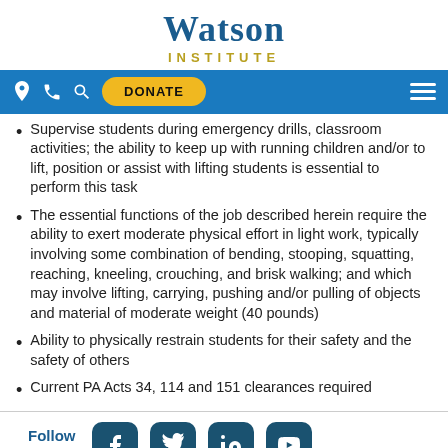Watson Institute
Supervise students during emergency drills, classroom activities; the ability to keep up with running children and/or to lift, position or assist with lifting students is essential to perform this task
The essential functions of the job described herein require the ability to exert moderate physical effort in light work, typically involving some combination of bending, stooping, squatting, reaching, kneeling, crouching, and brisk walking; and which may involve lifting, carrying, pushing and/or pulling of objects and material of moderate weight (40 pounds)
Ability to physically restrain students for their safety and the safety of others
Current PA Acts 34, 114 and 151 clearances required
Follow Us [Facebook] [Twitter] [LinkedIn] [YouTube]